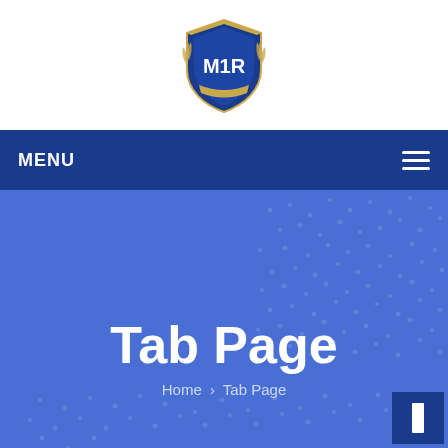[Figure (logo): Magnet Realty shield logo with gold laurels and M1R emblem in blue and gold]
MENU
Tab Page
Home › Tab Page